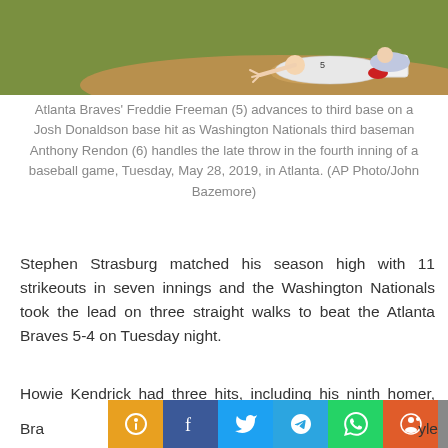[Figure (photo): Baseball game action photo showing Atlanta Braves player sliding into third base]
Atlanta Braves' Freddie Freeman (5) advances to third base on a Josh Donaldson base hit as Washington Nationals third baseman Anthony Rendon (6) handles the late throw in the fourth inning of a baseball game, Tuesday, May 28, 2019, in Atlanta. (AP Photo/John Bazemore)
Stephen Strasburg matched his season high with 11 strikeouts in seven innings and the Washington Nationals took the lead on three straight walks to beat the Atlanta Braves 5-4 on Tuesday night.
Howie Kendrick had three hits, including his ninth homer, and scored two runs for Washington. Trea Turner also had three hits.
Bra...yle